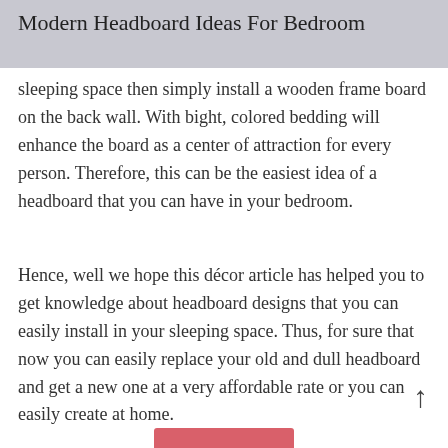Modern Headboard Ideas For Bedroom
sleeping space then simply install a wooden frame board on the back wall. With bight, colored bedding will enhance the board as a center of attraction for every person. Therefore, this can be the easiest idea of a headboard that you can have in your bedroom.
Hence, well we hope this décor article has helped you to get knowledge about headboard designs that you can easily install in your sleeping space. Thus, for sure that now you can easily replace your old and dull headboard and get a new one at a very affordable rate or you can easily create at home.